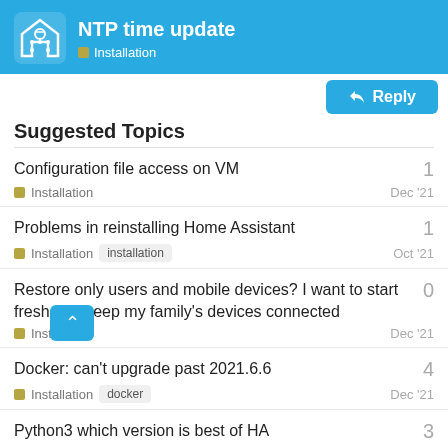NTP time update — Installation
Suggested Topics
Configuration file access on VM — Installation — Dec '21 — 1 reply
Problems in reinstalling Home Assistant — Installation — installation — Oct '21 — 1 reply
Restore only users and mobile devices? I want to start fresh and keep my family's devices connected — Installation — Dec '21 — 0 replies
Docker: can't upgrade past 2021.6.6 — Installation — docker — Dec '21 — 4 replies
Python3 which version is best of HA — Installation — Apr 11 — 3 replies